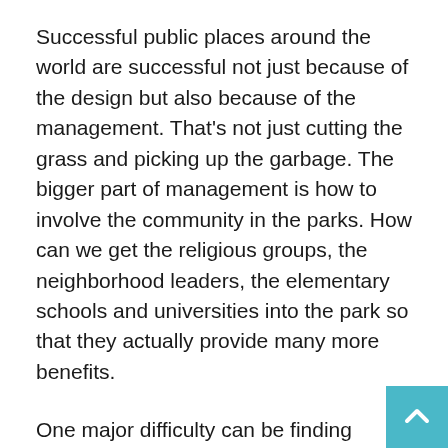Successful public places around the world are successful not just because of the design but also because of the management. That's not just cutting the grass and picking up the garbage. The bigger part of management is how to involve the community in the parks. How can we get the religious groups, the neighborhood leaders, the elementary schools and universities into the park so that they actually provide many more benefits.
One major difficulty can be finding funding for these uses. Because parks don't have any walls, many people don't think they need any investment. When cities build a community center with walls, immediatey they realize they need customer service, classes and programs, and security. But in the parks, we don't include the same kind of investment. We need to think of parks more as outdoor community centers where we need to invest in uses and activities so they can fulfill their